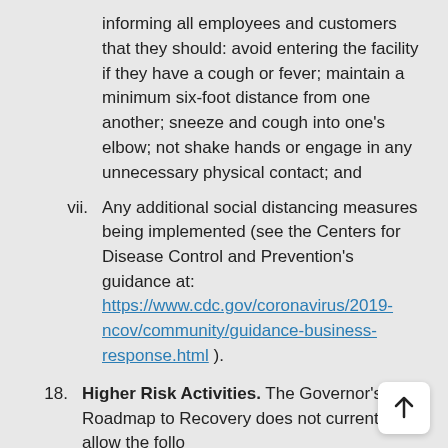informing all employees and customers that they should: avoid entering the facility if they have a cough or fever; maintain a minimum six-foot distance from one another; sneeze and cough into one's elbow; not shake hands or engage in any unnecessary physical contact; and
vii. Any additional social distancing measures being implemented (see the Centers for Disease Control and Prevention's guidance at: https://www.cdc.gov/coronavirus/2019-ncov/community/guidance-business-response.html ).
18. Higher Risk Activities. The Governor's Roadmap to Recovery does not currently allow the following sectors, businesses, establishments, or activities to